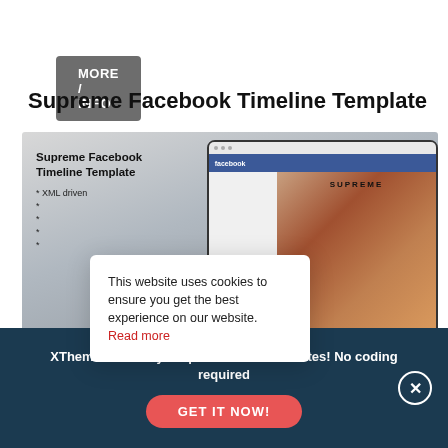MORE / INFO
Supreme Facebook Timeline Template
[Figure (screenshot): Screenshot of a website showing Supreme Facebook Timeline Template product page with a laptop displaying a Facebook page with fashion imagery]
This website uses cookies to ensure you get the best experience on our website. Read more
XTheme - Create your perfect site in minutes! No coding required
GET IT NOW!